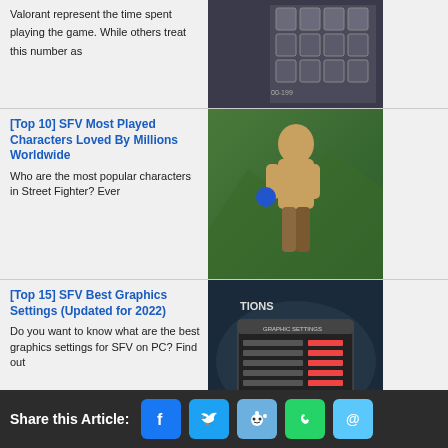Valorant represent the time spent playing the game. While others treat this number as
[Figure (screenshot): Valorant game interface showing a grid of card icons with rank indicators on dark background]
[Top 10] SFV Most Played Characters Loved By Millions Worldwide
Who are the most popular characters in Street Fighter? Ever
[Figure (photo): Street Fighter V character - muscular bald fighter in fighting stance against green mountain background]
[Top 15] SFV Best Graphics Settings (Updated for 2022)
Do you want to know what are the best graphics settings for SFV on PC? Find out
[Figure (screenshot): Street Fighter V graphics settings menu screen showing options with red value indicators on dark background]
[Top 5] SFV Best Control Sticks (Used By The Best Players In the World)
Looking for the best control stick out there? Check out what the best
[Figure (photo): Black and yellow arcade fight stick controller with yellow ball-top joystick and yellow-rimmed buttons on white background]
Share this Article: [Facebook] [Twitter] [Reddit] [WhatsApp] [Email]